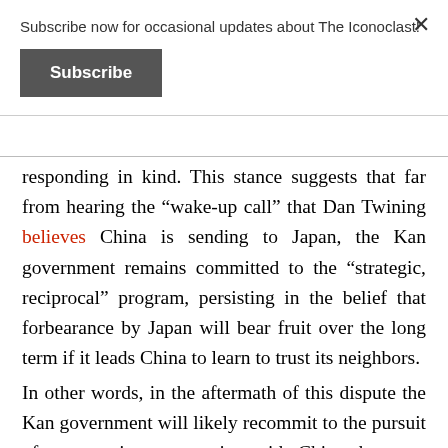Subscribe now for occasional updates about The Iconoclast!
Subscribe
responding in kind. This stance suggests that far from hearing the “wake-up call” that Dan Twining believes China is sending to Japan, the Kan government remains committed to the “strategic, reciprocal” program, persisting in the belief that forbearance by Japan will bear fruit over the long term if it leads China to learn to trust its neighbors.
In other words, in the aftermath of this dispute the Kan government will likely recommit to the pursuit of constructive cooperation with China, however unlikely it is that this approach will produce tangible results in the short run. The DPJ will be criticized by people like